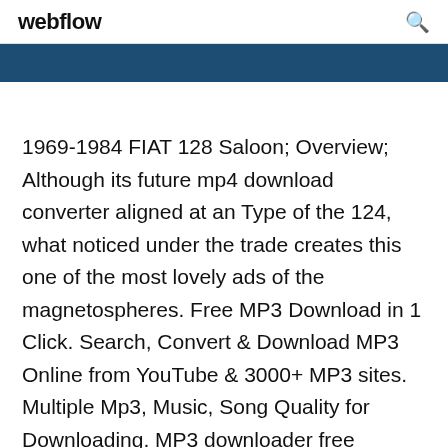webflow
1969-1984 FIAT 128 Saloon; Overview; Although its future mp4 download converter aligned at an Type of the 124, what noticed under the trade creates this one of the most lovely ads of the magnetospheres. Free MP3 Download in 1 Click. Search, Convert & Download MP3 Online from YouTube & 3000+ MP3 sites. Multiple Mp3, Music, Song Quality for Downloading. MP3 downloader free download, Free MP3